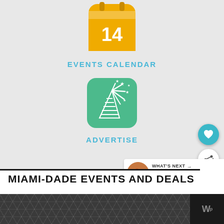[Figure (illustration): Golden/amber rounded square icon with a calendar showing number 14]
EVENTS CALENDAR
[Figure (illustration): Green rounded square icon with a party popper/celebration graphic with stars]
ADVERTISE
[Figure (illustration): Teal circular heart button and white circular share button (floating action buttons)]
[Figure (infographic): What's Next banner with food image thumbnail and text: WHAT'S NEXT → Get deals, support loca...]
MIAMI-DADE EVENTS AND DEALS
[Figure (illustration): Dark strip with hexagonal cube pattern and WM badge]